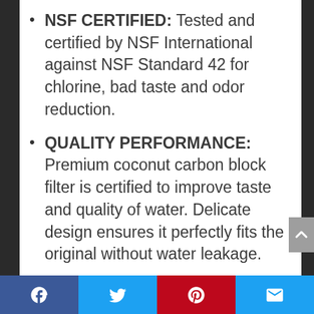NSF CERTIFIED: Tested and certified by NSF International against NSF Standard 42 for chlorine, bad taste and odor reduction.
QUALITY PERFORMANCE: Premium coconut carbon block filter is certified to improve taste and quality of water. Delicate design ensures it perfectly fits the original without water leakage.
FILTER LIFE: Our high-quality refrigerator water filter provides up to 6 months or 400 gallons of clean